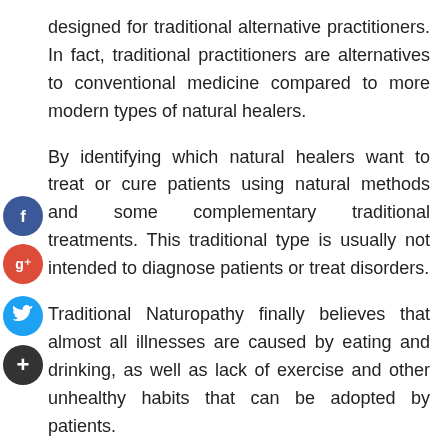designed for traditional alternative practitioners. In fact, traditional practitioners are alternatives to conventional medicine compared to more modern types of natural healers.
By identifying which natural healers want to treat or cure patients using natural methods and some complementary traditional treatments. This traditional type is usually not intended to diagnose patients or treat disorders.
Traditional Naturopathy finally believes that almost all illnesses are caused by eating and drinking, as well as lack of exercise and other unhealthy habits that can be adopted by patients.
[Figure (other): Social media share icons: Facebook (blue circle with f), Google+ (red circle with g+), Twitter (blue circle with bird icon), and Add/share (dark circle with + sign)]